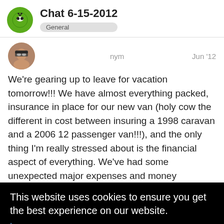Chat 6-15-2012 General
nym · Jun '12
We're gearing up to leave for vacation tomorrow!!! We have almost everything packed, insurance in place for our new van (holy cow the different in cost between insuring a 1998 caravan and a 2006 12 passenger van!!!), and the only thing I'm really stressed about is the financial aspect of everything. We've had some unexpected major expenses and money
This website uses cookies to ensure you get the best experience on our website.
Learn more
Got it!
are napping. We have eight here today!